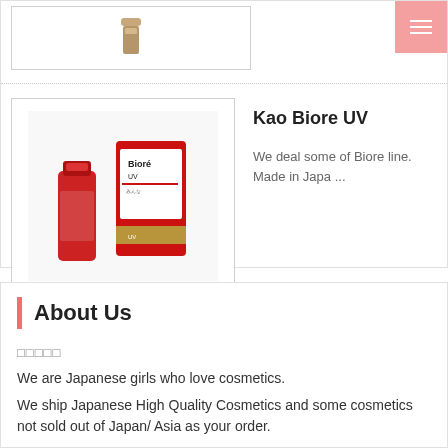[Figure (photo): Partially visible product image at top of page (cropped cosmetics product)]
[Figure (photo): Kao Biore UV sunscreen products - red tube and red/white package box with 'Biore UV' branding]
Kao Biore UV
We deal some of Biore line. Made in Japa ...
About Us
□□□□□
We are Japanese girls who love cosmetics.
We ship Japanese High Quality Cosmetics and some cosmetics not sold out of Japan/ Asia as your order.